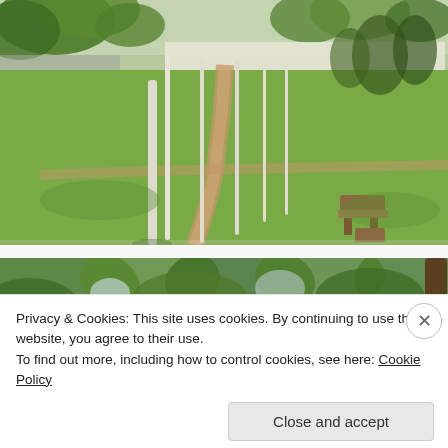[Figure (photo): Outdoor park or schoolyard scene showing a dirt path cutting through sparse grass, framed by tall white-painted poles and trees in the background. Wooden benches or structures visible on the right side.]
[Figure (photo): Treetop canopy photo showing green leafy trees against a bright sky, partially obscured by cookie consent overlay.]
Privacy & Cookies: This site uses cookies. By continuing to use this website, you agree to their use.
To find out more, including how to control cookies, see here: Cookie Policy
Close and accept